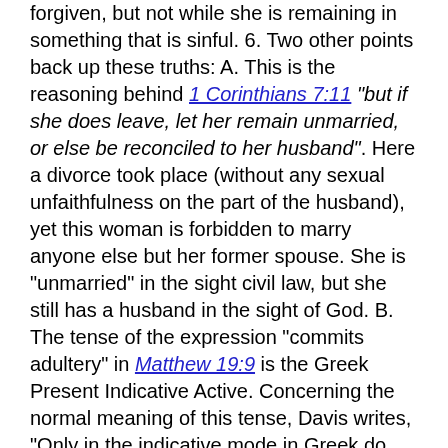forgiven, but not while she is remaining in something that is sinful. 6. Two other points back up these truths: A. This is the reasoning behind 1 Corinthians 7:11 "but if she does leave, let her remain unmarried, or else be reconciled to her husband". Here a divorce took place (without any sexual unfaithfulness on the part of the husband), yet this woman is forbidden to marry anyone else but her former spouse. She is "unmarried" in the sight civil law, but she still has a husband in the sight of God. B. The tense of the expression "commits adultery" in Matthew 19:9 is the Greek Present Indicative Active. Concerning the normal meaning of this tense, Davis writes, "Only in the indicative mode in Greek do the tenses show time absolutely…Continued action, or a state of incompletion, is denoted by the present tense… this kind of action is